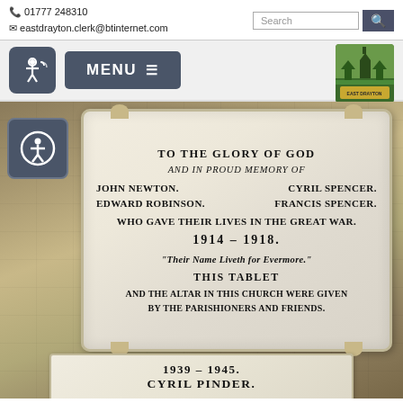📞 01777 248310
✉ eastdrayton.clerk@btinternet.com
[Figure (screenshot): Website navigation bar with accessibility icon and MENU button with hamburger icon, and village logo top right]
[Figure (photo): Photograph of a marble war memorial plaque inscribed: TO THE GLORY OF GOD AND IN PROUD MEMORY OF JOHN NEWTON. CYRIL SPENCER. EDWARD ROBINSON. FRANCIS SPENCER. WHO GAVE THEIR LIVES IN THE GREAT WAR. 1914-1918. THEIR NAME LIVETH FOR EVERMORE. THIS TABLET AND THE ALTAR IN THIS CHURCH WERE GIVEN BY THE PARISHIONERS AND FRIENDS. Below: 1939-1945. CYRIL PINDER.]